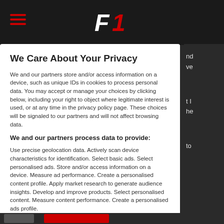[Figure (logo): F1 sports logo in white and red on dark background, with hamburger menu icon in red on the left]
We Care About Your Privacy
We and our partners store and/or access information on a device, such as unique IDs in cookies to process personal data. You may accept or manage your choices by clicking below, including your right to object where legitimate interest is used, or at any time in the privacy policy page. These choices will be signaled to our partners and will not affect browsing data.
We and our partners process data to provide:
Use precise geolocation data. Actively scan device characteristics for identification. Select basic ads. Select personalised ads. Store and/or access information on a device. Measure ad performance. Create a personalised content profile. Apply market research to generate audience insights. Develop and improve products. Select personalised content. Measure content performance. Create a personalised ads profile.
List of Partners (vendors)